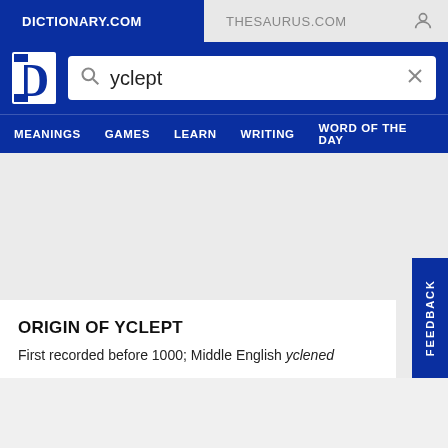DICTIONARY.COM | THESAURUS.COM
[Figure (screenshot): Dictionary.com logo: white D with stylized left half on blue background]
yclept
MEANINGS  GAMES  LEARN  WRITING  WORD OF THE DAY
ORIGIN OF YCLEPT
First recorded before 1000; Middle English yclened